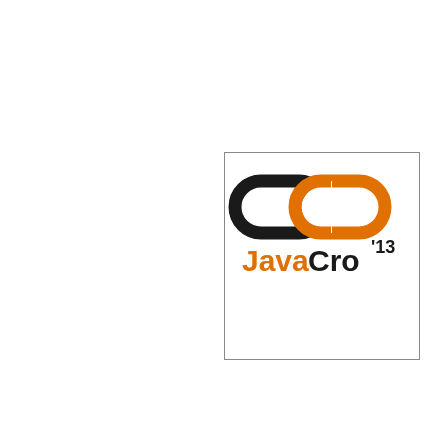[Figure (logo): JavaCro'13 conference logo: two interlocking chain links (one black, one orange) above the text 'JavaCro' with superscript '13', inside a bordered box. 'Java' in orange, 'Cro' in black.]